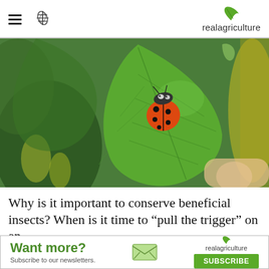realagriculture
[Figure (photo): Close-up photo of a ladybug (orange with black spots) resting on a green soybean leaf held by a hand, with blurred green foliage in the background.]
Why is it important to conserve beneficial insects? When is it time to “pull the trigger” on an
Want more? Subscribe to our newsletters. realagriculture SUBSCRIBE